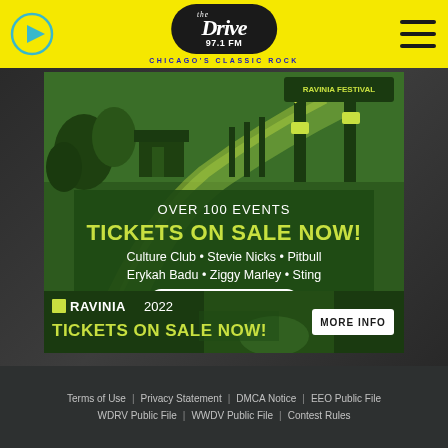[Figure (logo): The Drive 97.1 FM Chicago's Classic Rock radio station logo on yellow header with play button icon and hamburger menu icon]
[Figure (illustration): Ravinia Festival illustrated advertisement: green illustrated scene of Ravinia Festival grounds with text 'OVER 100 EVENTS TICKETS ON SALE NOW! Culture Club • Stevie Nicks • Pitbull Erykah Badu • Ziggy Marley • Sting VIEW FULL LINEUP']
[Figure (illustration): Ravinia 2022 bottom banner: 'TICKETS ON SALE NOW!' with MORE INFO button]
Terms of Use   Privacy Statement   DMCA Notice   EEO Public File   WDRV Public File   WWDV Public File   Contest Rules